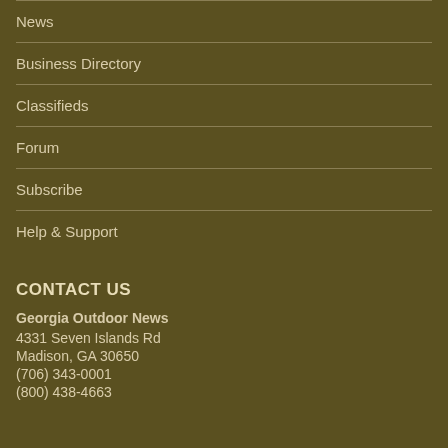News
Business Directory
Classifieds
Forum
Subscribe
Help & Support
CONTACT US
Georgia Outdoor News
4331 Seven Islands Rd
Madison, GA 30650
(706) 343-0001
(800) 438-4663